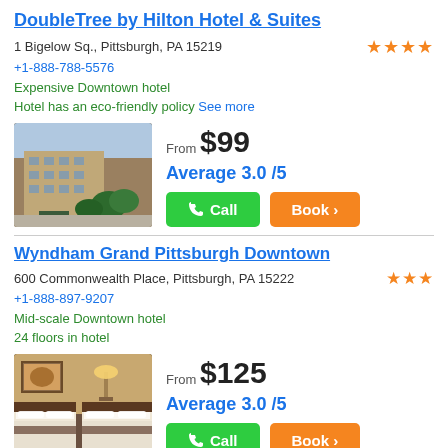DoubleTree by Hilton Hotel & Suites
1 Bigelow Sq., Pittsburgh, PA 15219
+1-888-788-5576
Expensive Downtown hotel
Hotel has an eco-friendly policy See more
From $99
Average 3.0 /5
[Figure (photo): Exterior photo of DoubleTree by Hilton hotel building]
Call  Book
Wyndham Grand Pittsburgh Downtown
600 Commonwealth Place, Pittsburgh, PA 15222
+1-888-897-9207
Mid-scale Downtown hotel
24 floors in hotel
From $125
Average 3.0 /5
[Figure (photo): Interior photo of Wyndham Grand hotel room with beds]
Call  Book